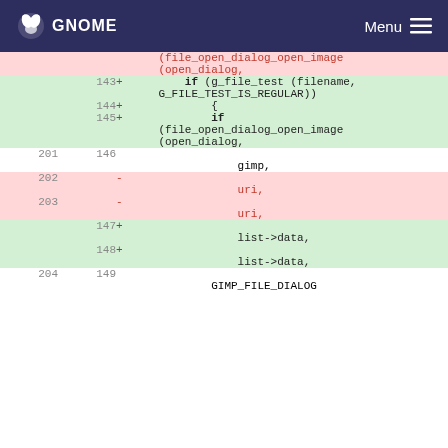GNOME   Menu
[Figure (screenshot): Code diff view showing changes to file open dialog code, with line numbers, removed lines (pink background, minus marker) and added lines (green background, plus marker). Lines include: (file_open_dialog_open_image (open_dialog, [old]; if (g_file_test (filename, G_FILE_TEST_IS_REGULAR)) { if (file_open_dialog_open_image (open_dialog, [new lines 143-145]; context lines 201/146 with gimp,; deleted lines 202,203 with uri,; added lines 147,148 with list->data,; context line 204/149 with GIMP_FILE_DIALOG]